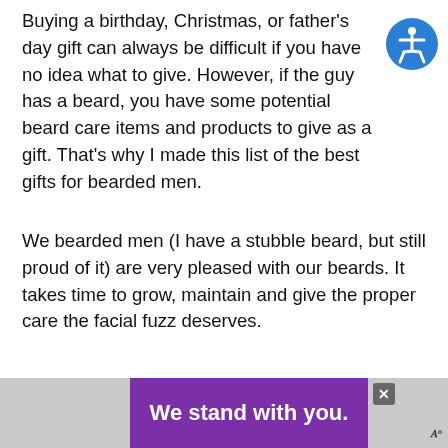Buying a birthday, Christmas, or father's day gift can always be difficult if you have no idea what to give. However, if the guy has a beard, you have some potential beard care items and products to give as a gift. That's why I made this list of the best gifts for bearded men.
We bearded men (I have a stubble beard, but still proud of it) are very pleased with our beards. It takes time to grow, maintain and give the proper care the facial fuzz deserves.
Bearded guys receiving a gift for their beards means they are recognized for having a friendly and pleasant look. This will boost their ego... gifts if.
[Figure (other): Advertisement banner at the bottom: gray section on left, purple section with text 'We stand with you.' in white bold, gray section on right with X close button and logo]